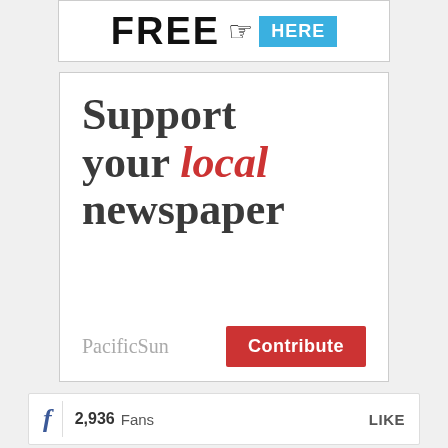[Figure (other): Top banner advertisement with large bold text 'FREE' and a pointing hand icon followed by a blue button labeled 'HERE']
[Figure (other): PacificSun newspaper advertisement with large serif text 'Support your local newspaper', PacificSun logo in gray, and a red Contribute button]
2,936 Fans LIKE
4,067 Followers FOLLOW
[Figure (other): Partially visible bottom banner/teaser image]